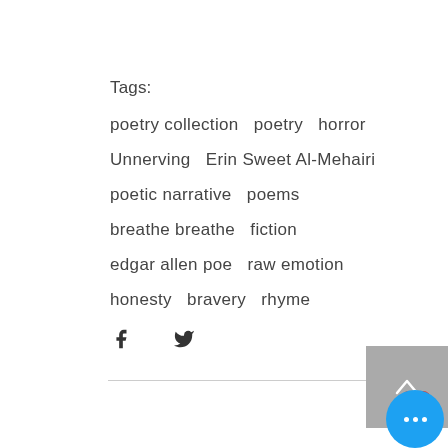Tags:
poetry collection   poetry   horror
Unnerving   Erin Sweet Al-Mehairi
poetic narrative   poems
breathe breathe   fiction
edgar allen poe   raw emotion
honesty   bravery   rhyme
[Figure (other): Facebook and Twitter share icons, scroll-to-top button, heart/like icon, and a blue circular more-options button]